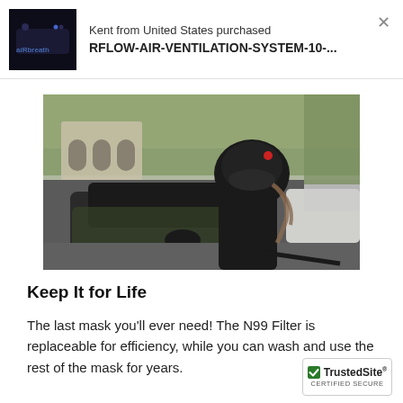Kent from United States purchased RFLOW-AIR-VENTILATION-SYSTEM-10-...
[Figure (photo): Person riding a motorcycle wearing a black helmet and black N99 filtration mask, with cars and trees in the background on a city street.]
Keep It for Life
The last mask you'll ever need! The N99 Filter is replaceable for efficiency, while you can wash and use the rest of the mask for years.